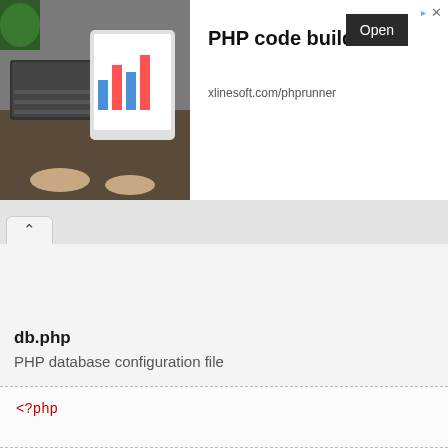[Figure (screenshot): Advertisement banner for PHP code builder by xlinesoft.com/phprunner. Shows a photo of someone using a tablet with charts, the title 'PHP code builder', a URL 'xlinesoft.com/phprunner', and an 'Open' button.]
PHP code builder
xlinesoft.com/phprunner
Open
[Figure (screenshot): Browser tab bar with an upward chevron (collapse) icon in an active tab.]
db.php
PHP database configuration file
<?php